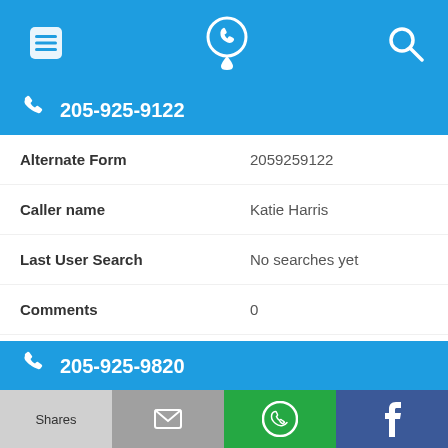Navigation bar with menu, phone/location icon, and search icon
205-925-9122
| Alternate Form | 2059259122 |
| Caller name | Katie Harris |
| Last User Search | No searches yet |
| Comments | 0 |
205-925-9820
| Alternate Form | 2059259820 |
Shares | [email icon] | [WhatsApp icon] | f